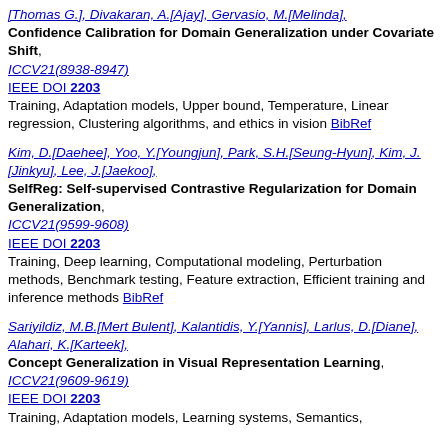[Thomas G.], Divakaran, A.[Ajay], Gervasio, M.[Melinda], Confidence Calibration for Domain Generalization under Covariate Shift, ICCV21(8938-8947) IEEE DOI 2203 Training, Adaptation models, Upper bound, Temperature, Linear regression, Clustering algorithms, and ethics in vision BibRef
Kim, D.[Daehee], Yoo, Y.[Youngjun], Park, S.H.[Seung-Hyun], Kim, J.[Jinkyu], Lee, J.[Jaekoo], SelfReg: Self-supervised Contrastive Regularization for Domain Generalization, ICCV21(9599-9608) IEEE DOI 2203 Training, Deep learning, Computational modeling, Perturbation methods, Benchmark testing, Feature extraction, Efficient training and inference methods BibRef
Sariyildiz, M.B.[Mert Bulent], Kalantidis, Y.[Yannis], Larlus, D.[Diane], Alahari, K.[Karteek], Concept Generalization in Visual Representation Learning, ICCV21(9609-9619) IEEE DOI 2203